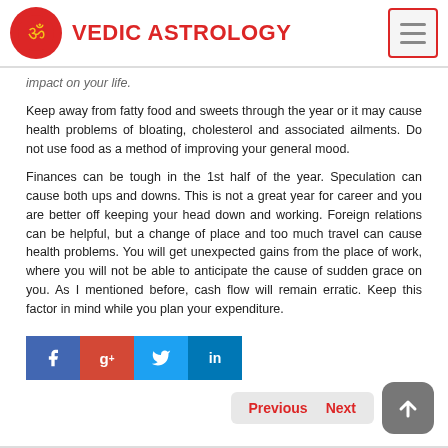VEDIC ASTROLOGY
impact on your life.
Keep away from fatty food and sweets through the year or it may cause health problems of bloating, cholesterol and associated ailments. Do not use food as a method of improving your general mood.
Finances can be tough in the 1st half of the year. Speculation can cause both ups and downs. This is not a great year for career and you are better off keeping your head down and working. Foreign relations can be helpful, but a change of place and too much travel can cause health problems. You will get unexpected gains from the place of work, where you will not be able to anticipate the cause of sudden grace on you. As I mentioned before, cash flow will remain erratic. Keep this factor in mind while you plan your expenditure.
[Figure (infographic): Social share buttons: Facebook, Google+, Twitter, LinkedIn]
[Figure (infographic): Navigation buttons: Previous, Next, and scroll-to-top button]